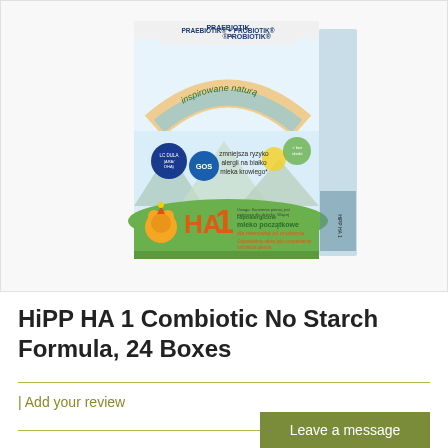[Figure (photo): HiPP HA 1 Combiotic product box. Box shows 'PRAEBIOTIK + PROBIOTIK' at top, rainbow arc with text 'inspirowane naturą', two blue circle badges with 'LC DULA (ARA/DHA)' and 'GOS', green text 'zmniejsza ryzyko alergii na białko mleka krowiego*', orange bear mascot, 'HA1' branding, and text 'Hipoalergiczne mleko początkowe dla niemowląt od urodzenia'.]
HiPP HA 1 Combiotic No Starch Formula, 24 Boxes
| Add your review